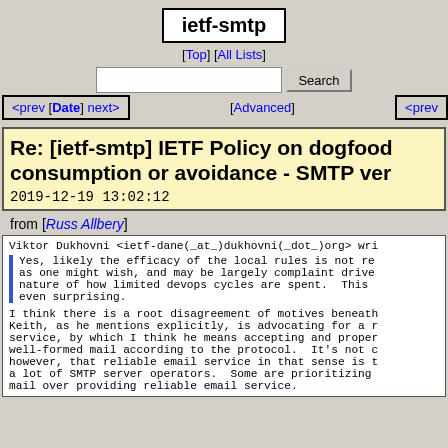ietf-smtp
[Top] [All Lists]
Search [Advanced]
<prev [Date] next> <prev
Re: [ietf-smtp] IETF Policy on dogfood consumption or avoidance - SMTP ver
2019-12-19 13:02:12
from [Russ Allbery]
Viktor Dukhovni <ietf-dane(_at_)dukhovni(_dot_)org> wri
Yes, likely the efficacy of the local rules is not re
as one might wish, and may be largely complaint drive
nature of how limited devops cycles are spent.  This
even surprising.
I think there is a root disagreement of motives beneath
Keith, as he mentions explicitly, is advocating for a r
service, by which I think he means accepting and proper
well-formed mail according to the protocol.  It's not c
however, that reliable email service in that sense is t
a lot of SMTP server operators.  Some are prioritizing
mail over providing reliable email service.